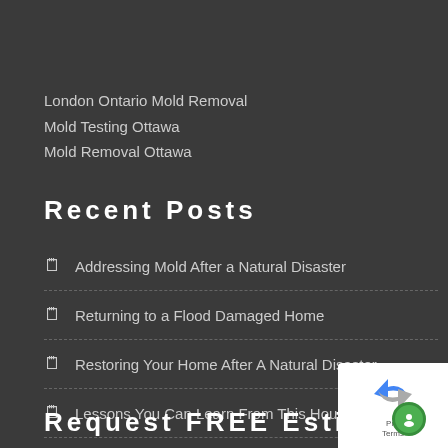London Ontario Mold Removal
Mold Testing Ottawa
Mold Removal Ottawa
Recent Posts
Addressing Mold After a Natural Disaster
Returning to a Flood Damaged Home
Restoring Your Home After A Natural Disaster
Lessons You Can Learn From This House Fire
Request FREE Estimate
[Figure (logo): reCAPTCHA badge with blue/grey logo and green circle icon, showing privacy terms text]